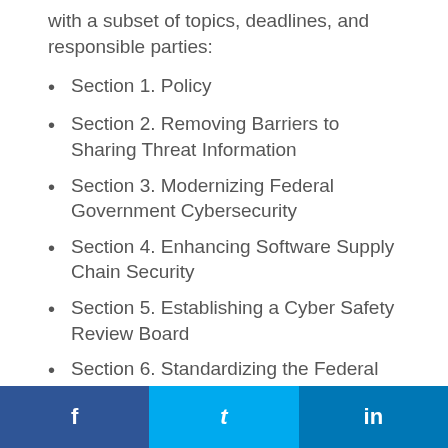with a subset of topics, deadlines, and responsible parties:
Section 1. Policy
Section 2. Removing Barriers to Sharing Threat Information
Section 3. Modernizing Federal Government Cybersecurity
Section 4. Enhancing Software Supply Chain Security
Section 5. Establishing a Cyber Safety Review Board
Section 6. Standardizing the Federal
f  t  in